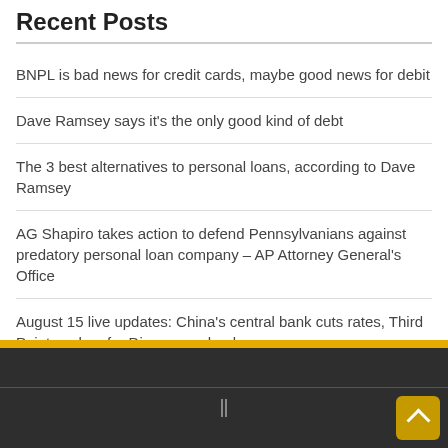Recent Posts
BNPL is bad news for credit cards, maybe good news for debit
Dave Ramsey says it’s the only good kind of debt
The 3 best alternatives to personal loans, according to Dave Ramsey
AG Shapiro takes action to defend Pennsylvanians against predatory personal loan company – AP Attorney General’s Office
August 15 live updates: China’s central bank cuts rates, Third Point pushes for Disney overhaul